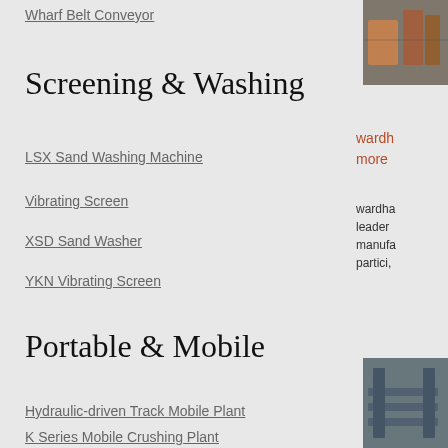Wharf Belt Conveyor
Screening & Washing
LSX Sand Washing Machine
Vibrating Screen
XSD Sand Washer
YKN Vibrating Screen
Portable & Mobile
Hydraulic-driven Track Mobile Plant
[Figure (photo): Industrial conveyor or machinery in a warehouse setting, top right]
wardh more
wardha leader  manufa partici,
K Series Mobile Crushing Plant
Mobile Cone Crusher
Mobile Impact Crusher
[Figure (photo): Industrial manufacturing plant interior, bottom right]